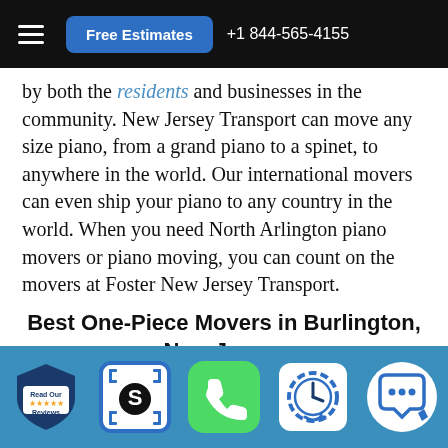Free Estimates  +1 844-565-4155
by both the residents and businesses in the community. New Jersey Transport can move any size piano, from a grand piano to a spinet, to anywhere in the world. Our international movers can even ship your piano to any country in the world. When you need North Arlington piano movers or piano moving, you can count on the movers at Foster New Jersey Transport.
Best One-Piece Movers in Burlington, New Jersey
The New Jersey Transport piano movers can move pianos
Read Our Reviews | $ | Phone | Clock | Chat